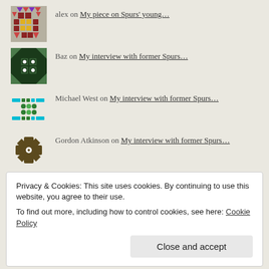[Figure (illustration): Avatar icon for user alex - colorful pixel/mosaic pattern in purple, red, orange]
alex on My piece on Spurs' young…
[Figure (illustration): Avatar icon for user Baz - dark green mosaic pattern with dots]
Baz on My interview with former Spurs…
[Figure (illustration): Avatar icon for user Michael West - teal/green mosaic pattern]
Michael West on My interview with former Spurs…
[Figure (illustration): Avatar icon for user Gordon Atkinson - dark brown/olive star/snowflake pattern]
Gordon Atkinson on My interview with former Spurs…
Archives
August 2022
Privacy & Cookies: This site uses cookies. By continuing to use this website, you agree to their use. To find out more, including how to control cookies, see here: Cookie Policy
Close and accept